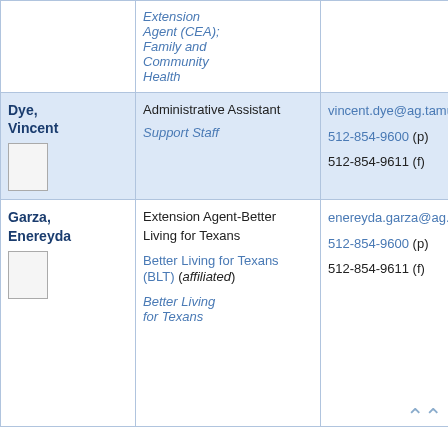| Name | Title/Role | Contact |
| --- | --- | --- |
|  | Extension Agent (CEA); Family and Community Health |  |
| Dye, Vincent | Administrative Assistant
Support Staff | vincent.dye@ag.tamu.edu
512-854-9600 (p)
512-854-9611 (f) |
| Garza, Enereyda | Extension Agent-Better Living for Texans
Better Living for Texans (BLT) (affiliated)
Better Living for Texans | enereyda.garza@ag.tamu.edu
512-854-9600 (p)
512-854-9611 (f) |